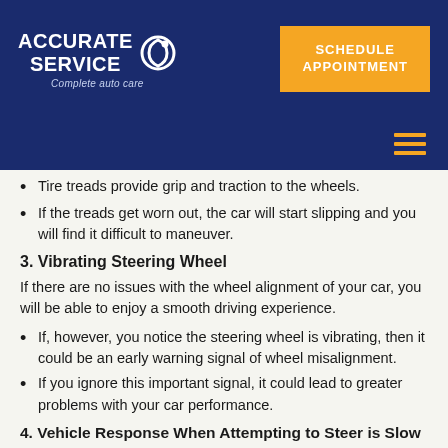ACCURATE SERVICE Complete auto care | SCHEDULE APPOINTMENT
Tire treads provide grip and traction to the wheels.
If the treads get worn out, the car will start slipping and you will find it difficult to maneuver.
3. Vibrating Steering Wheel
If there are no issues with the wheel alignment of your car, you will be able to enjoy a smooth driving experience.
If, however, you notice the steering wheel is vibrating, then it could be an early warning signal of wheel misalignment.
If you ignore this important signal, it could lead to greater problems with your car performance.
4. Vehicle Response When Attempting to Steer is Slow
Another indication that your car wheel alignment is bad